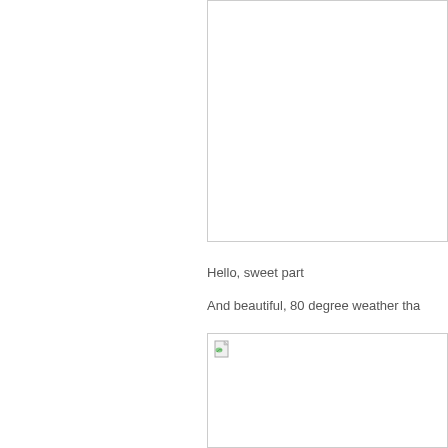[Figure (photo): Image box (top), cropped — no content visible, appears as empty bordered rectangle]
Hello, sweet part
And beautiful, 80 degree weather tha
[Figure (photo): Image box (bottom) with broken image icon in top-left corner]